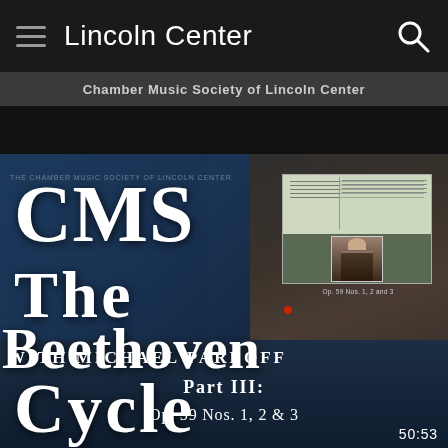Lincoln Center
Chamber Music Society of Lincoln Center
[Figure (screenshot): Video thumbnail for CMS The Beethoven Cycle with Michael Parloff, Part III: Op. 59 Nos. 1, 2 & 3. Shows a projected screen with musical score and Beethoven portrait on the right side (concert hall setting), overlaid by a dark blue panel on the left with large white text reading CMS / The / Beethoven / Cycle. Below: WITH MICHAEL PARLOFF / PART III: / Op. 59 Nos. 1, 2 & 3. Duration shown as 50:53.]
THE CHAMBER MUSIC SOCIETY OF LINCOLN CENTER
CMS The Beethoven Cycle
WITH MICHAEL PARLOFF
Part III:
Op. 59 Nos. 1, 2 & 3
50:53